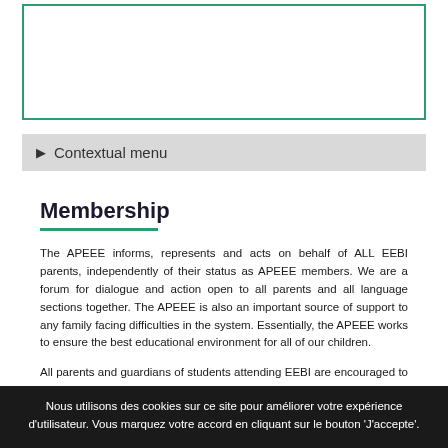[Figure (other): Empty white box with green border at top of page]
Contextual menu
Membership
The APEEE informs, represents and acts on behalf of ALL EEBI parents, independently of their status as APEEE members. We are a forum for dialogue and action open to all parents and all language sections together. The APEEE is also an important source of support to any family facing difficulties in the system. Essentially, the APEEE works to ensure the best educational environment for all of our children.
All parents and guardians of students attending EEBI are encouraged to become APEEE members and to support the APEEE and receive the attendant privileges by paying the annual fee. Privileges of membership include...
Nous utilisons des cookies sur ce site pour améliorer votre expérience d'utilisateur. Vous marquez votre accord en cliquant sur le bouton 'J'accepte'.